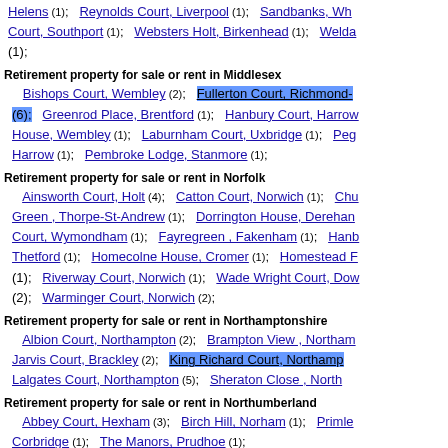Helens (1); Reynolds Court, Liverpool (1); Sandbanks, Wh Court, Southport (1); Websters Holt, Birkenhead (1); Welda (1);
Retirement property for sale or rent in Middlesex
Bishops Court, Wembley (2); Fullerton Court, Richmond- (6); Greenrod Place, Brentford (1); Hanbury Court, Harrow House, Wembley (1); Laburnham Court, Uxbridge (1); Peg Harrow (1); Pembroke Lodge, Stanmore (1);
Retirement property for sale or rent in Norfolk
Ainsworth Court, Holt (4); Catton Court, Norwich (1); Chu Green, Thorpe-St-Andrew (1); Dorrington House, Derehan Court, Wymondham (1); Fayregreen, Fakenham (1); Hanb Thetford (1); Homecolne House, Cromer (1); Homestead F (1); Riverway Court, Norwich (1); Wade Wright Court, Dow (2); Warminger Court, Norwich (2);
Retirement property for sale or rent in Northamptonshire
Albion Court, Northampton (2); Brampton View, Northam Jarvis Court, Brackley (2); King Richard Court, Northamp Lalgates Court, Northampton (5); Sheraton Close, North
Retirement property for sale or rent in Northumberland
Abbey Court, Hexham (3); Birch Hill, Norham (1); Primle Corbridge (1); The Manors, Prudhoe (1);